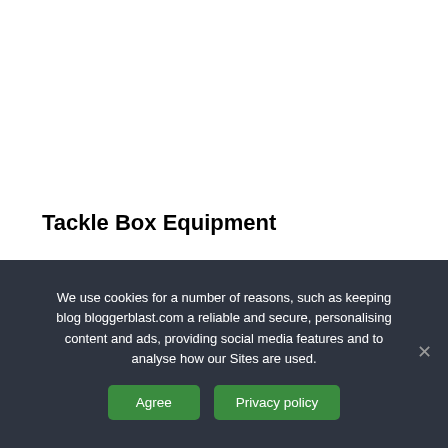Tackle Box Equipment
We use cookies for a number of reasons, such as keeping blog bloggerblast.com a reliable and secure, personalising content and ads, providing social media features and to analyse how our Sites are used.
Agree
Privacy policy